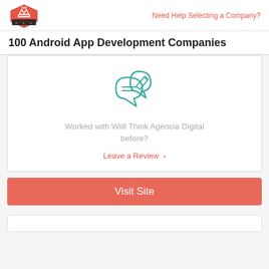[Figure (logo): Top Design Firms logo — red hexagon badge with crown and banner]
Need Help Selecting a Company?
100 Android App Development Companies
[Figure (illustration): Teal/green icon of two speech bubbles with a pencil/writing symbol]
Worked with Wiill Think Agencia Digital before?
Leave a Review >
Visit Site